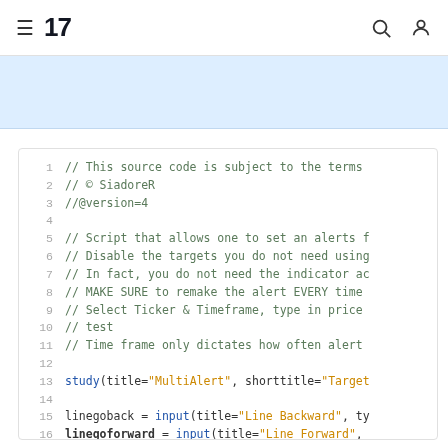TradingView navigation header with hamburger menu, logo, search and user icons
[Figure (screenshot): Light blue banner/hero area below the navigation header]
Code block showing Pine Script source code lines 1-17 including comments, study() call, and input() declarations